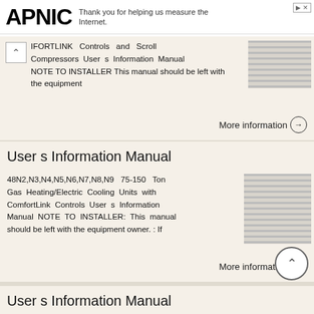APNIC — Thank you for helping us measure the Internet.
IFORTLINK Controls and Scroll Compressors User s Information Manual NOTE TO INSTALLER This manual should be left with the equipment
More information →
User s Information Manual
48N2,N3,N4,N5,N6,N7,N8,N9 75-150 Ton Gas Heating/Electric Cooling Units with ComfortLink Controls User s Information Manual NOTE TO INSTALLER: This manual should be left with the equipment owner. : If
More information →
User s Information Manual